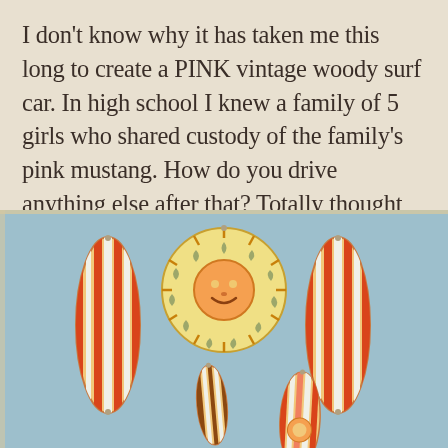I don't know why it has taken me this long to create a PINK vintage woody surf car. In high school I knew a family of 5 girls who shared custody of the family's pink mustang. How do you drive anything else after that? Totally thought of them when I made this!
[Figure (photo): Photo of decorative wooden surfboard ornaments and a sun ornament mounted on a light blue wall. There are two large striped surfboards on either side, a circular smiling sun piece in the center top, and two smaller surfboards below.]